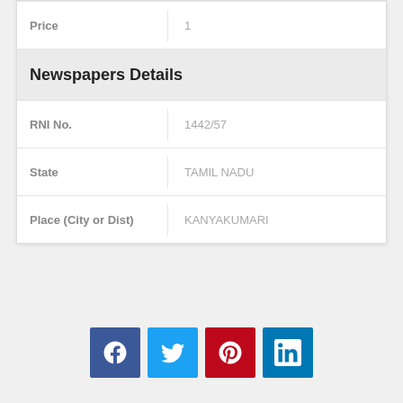| Field | Value |
| --- | --- |
| Price | 1 |
| Newspapers Details |  |
| RNI No. | 1442/57 |
| State | TAMIL NADU |
| Place (City or Dist) | KANYAKUMARI |
[Figure (infographic): Social media sharing icons: Facebook (blue), Twitter (light blue), Pinterest (red), LinkedIn (dark blue)]